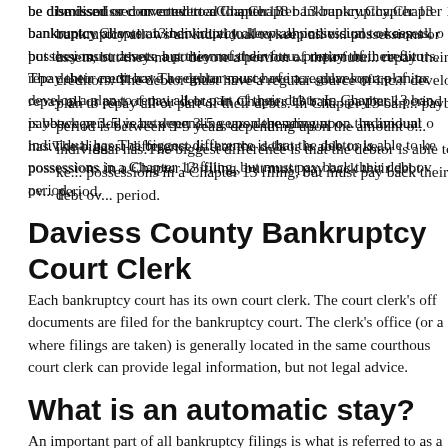be dismissed or converted to a Chapter 13 bankruptcy.Chapter 13 bankruptcy allows an individual to keep all possessions or assets, but they must devote a portion of their future income to repay their creditors. The debtor must have a regular source of income and develop a plan to repay all or part of their debts. In Chapter 13 bankruptcy, the payback period is between 3-5 years depending upon the amount of debt the individual has.The biggest difference is that the debtor is able to keep their possessions in a Chapter 13 filing, but must pay back their debt over a set time period.
Daviess County Bankruptcy Court Clerk
Each bankruptcy court has its own court clerk. The court clerk's office is where documents are filed for the bankruptcy court. The clerk's office (or a division where filings are taken) is generally located in the same courthouse. The court clerk can provide legal information, but not legal advice.
What is an automatic stay?
An important part of all bankruptcy filings is what is referred to as an automatic stay. By filing for bankruptcy, an automatic stay is imposed and immediately stops most lawsuits, reposessions, foreclosures, evictions, garnishments, utility shut-offs, and any debt collection.